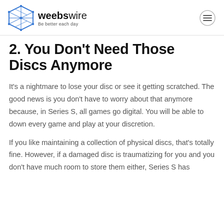weebswire — Be better each day
2. You Don't Need Those Discs Anymore
It's a nightmare to lose your disc or see it getting scratched. The good news is you don't have to worry about that anymore because, in Series S, all games go digital. You will be able to down every game and play at your discretion.
If you like maintaining a collection of physical discs, that's totally fine. However, if a damaged disc is traumatizing for you and you don't have much room to store them either, Series S has